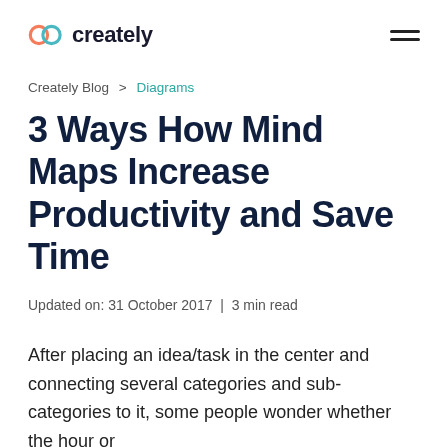creately
Creately Blog > Diagrams
3 Ways How Mind Maps Increase Productivity and Save Time
Updated on: 31 October 2017 | 3 min read
After placing an idea/task in the center and connecting several categories and sub-categories to it, some people wonder whether the hour or